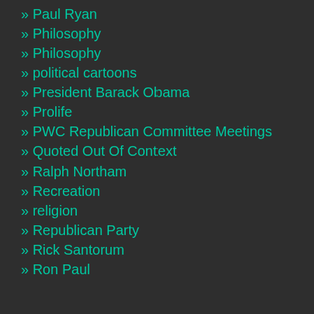» Paul Ryan
» Philosophy
» Philosophy
» political cartoons
» President Barack Obama
» Prolife
» PWC Republican Committee Meetings
» Quoted Out Of Context
» Ralph Northam
» Recreation
» religion
» Republican Party
» Rick Santorum
» Ron Paul